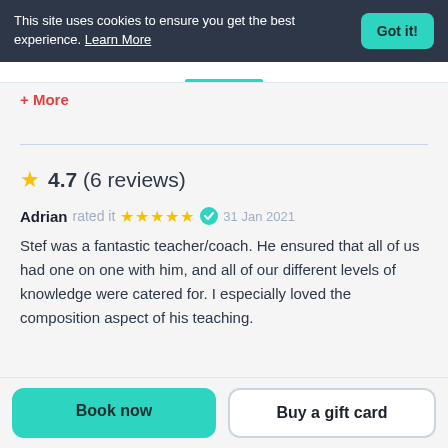This site uses cookies to ensure you get the best experience. Learn More | Got it!
+ More
★ 4.7 (6 reviews)
Adrian rated it ★★★★★ ✓ 31 Jan 2021
Stef was a fantastic teacher/coach. He ensured that all of us had one on one with him, and all of our different levels of knowledge were catered for. I especially loved the composition aspect of his teaching.
Book now | Buy a gift card